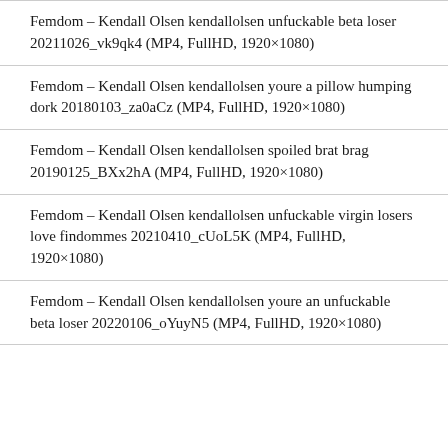Femdom – Kendall Olsen kendallolsen unfuckable beta loser 20211026_vk9qk4 (MP4, FullHD, 1920×1080)
Femdom – Kendall Olsen kendallolsen youre a pillow humping dork 20180103_za0aCz (MP4, FullHD, 1920×1080)
Femdom – Kendall Olsen kendallolsen spoiled brat brag 20190125_BXx2hA (MP4, FullHD, 1920×1080)
Femdom – Kendall Olsen kendallolsen unfuckable virgin losers love findommes 20210410_cUoL5K (MP4, FullHD, 1920×1080)
Femdom – Kendall Olsen kendallolsen youre an unfuckable beta loser 20220106_oYuyN5 (MP4, FullHD, 1920×1080)